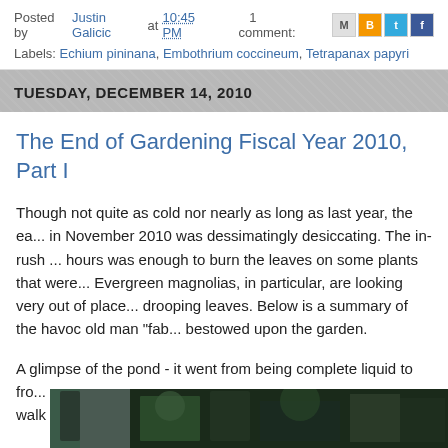Posted by Justin Galicic at 10:45 PM    1 comment:
Labels: Echium pininana, Embothrium coccineum, Tetrapanax papyri...
TUESDAY, DECEMBER 14, 2010
The End of Gardening Fiscal Year 2010, Part I
Though not quite as cold nor nearly as long as last year, the ea... in November 2010 was dessimatingly desiccating. The in-rush... hours was enough to burn the leaves on some plants that were... Evergreen magnolias, in particular, are looking very out of plac... drooping leaves. Below is a summary of the havoc old man "fab... bestowed upon the garden.
A glimpse of the pond - it went from being complete liquid to fro... surface in a matter of 24 hours. Last year I was able to walk on... this time - which I am happy about.
[Figure (photo): A garden photo showing outdoor scene with dark green trees and structures, partially cropped at bottom of page]